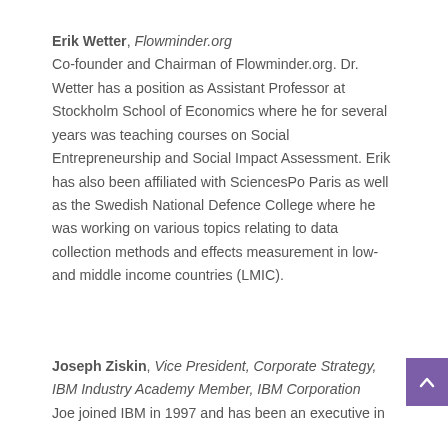Erik Wetter, Flowminder.org
Co-founder and Chairman of Flowminder.org. Dr. Wetter has a position as Assistant Professor at Stockholm School of Economics where he for several years was teaching courses on Social Entrepreneurship and Social Impact Assessment. Erik has also been affiliated with SciencesPo Paris as well as the Swedish National Defence College where he was working on various topics relating to data collection methods and effects measurement in low- and middle income countries (LMIC).
Joseph Ziskin, Vice President, Corporate Strategy, IBM Industry Academy Member, IBM Corporation
Joe joined IBM in 1997 and has been an executive in